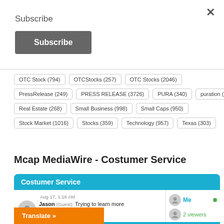Subscribe
Subscribe (button)
OTC Stock (794)
OTCStocks (257)
OTC Stocks (2046)
PressRelease (249)
PRESS RELEASE (3726)
PURA (340)
puration (237)
Real Estate (268)
Small Business (998)
Small Caps (950)
Stock Market (1016)
Stocks (359)
Technology (957)
Texas (303)
Mcap MediaWire - Costumer Service
[Figure (screenshot): Chat widget showing 'Costumer Service' header in blue, with a chat message from Jason (Guest) dated Aug 17, 1:16 AM saying 'Trying to learn more...ing of packages for like...s a month. I represent', a right panel showing 'Me' (online) and '2 viewers', and an orange 'Translate »' button at the bottom left.]